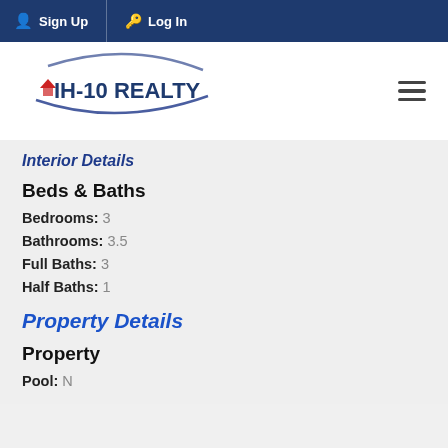Sign Up  Log In
[Figure (logo): IH-10 Realty logo with swoosh design and house icon]
Interior Details
Beds & Baths
Bedrooms: 3
Bathrooms: 3.5
Full Baths: 3
Half Baths: 1
Property Details
Property
Pool: N